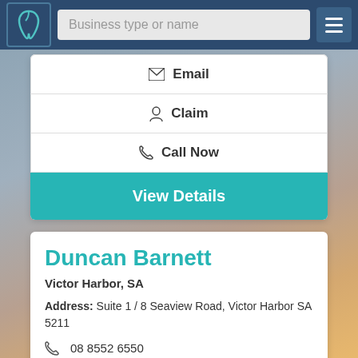Business type or name
Email
Claim
Call Now
View Details
Duncan Barnett
Victor Harbor, SA
Address: Suite 1 / 8 Seaview Road, Victor Harbor SA 5211
08 8552 6550
Email